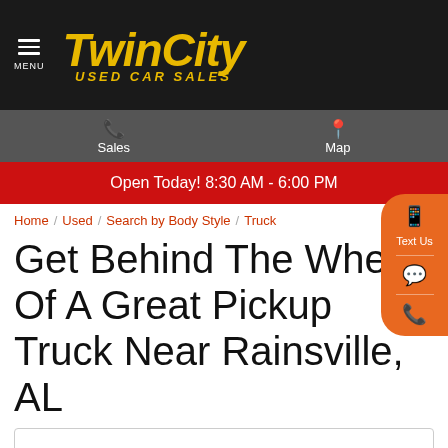Twin City Used Car Sales
Sales  Map
Open Today! 8:30 AM - 6:00 PM
Home / Used / Search by Body Style / Truck
Get Behind The Wheel Of A Great Pickup Truck Near Rainsville, AL
Search Results Filter
78 Matching Vehicles: All Listings
Sort by: Year  Model  Color  Price  Mileage